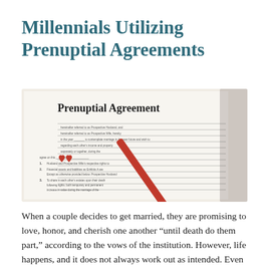Millennials Utilizing Prenuptial Agreements
[Figure (photo): Photo of a prenuptial agreement document with a red ballpoint pen and two small red decorative hearts resting on top of the legal document.]
When a couple decides to get married, they are promising to love, honor, and cherish one another “until death do them part,” according to the vows of the institution. However, life happens, and it does not always work out as intended. Even though divorce is …